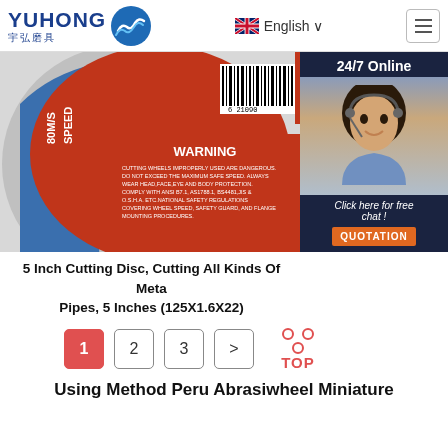YUHONG 宇弘磨具 | English
[Figure (photo): Close-up of a 5-inch cutting disc/grinding wheel with red and blue label showing WARNING text, SPEED 80M/S, barcode, and safety instructions. Overlaid with a customer service chat widget showing a female agent and '24/7 Online', 'Click here for free chat!', and 'QUOTATION' button.]
5 Inch Cutting Disc, Cutting All Kinds Of Metal Pipes, 5 Inches (125X1.6X22)
1
2
3
>
Using Method Peru Abrasiwheel Miniature